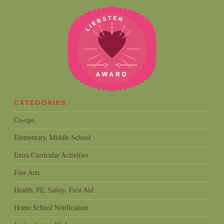[Figure (logo): Liebster Award badge — pink scalloped circle seal with a dark red heart in the center, rays emanating from the heart, arrows crossing underneath, text 'LIEBSTER AWARD' around the badge in white letters on pink background]
CATEGORIES
Co-ops
Elementary, Middle School
Extra Curricular Activities
Fine Arts
Health, PE, Safety, First Aid
Home School Notification
Junior, Senior High
Living on Jupiter: Encouragement, Musings
Middle School